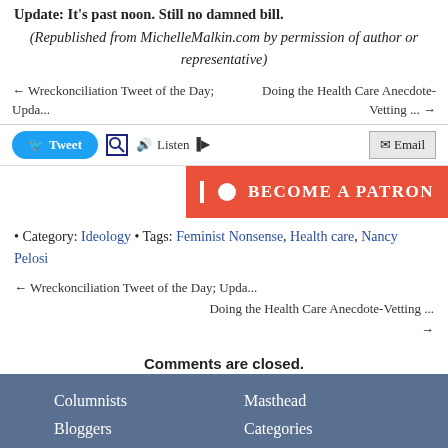Update: It's past noon. Still no damned bill.
(Republished from MichelleMalkin.com by permission of author or representative)
← Wreckonciliation Tweet of the Day; Upda...    Doing the Health Care Anecdote-Vetting ... →
[Figure (screenshot): Toolbar with Tweet button, search icon, Listen controls, and Email button]
[Figure (infographic): Become a Patron orange banner button]
• Category: Ideology • Tags: Feminist Nonsense, Health care, Nancy Pelosi
← Wreckonciliation Tweet of the Day; Upda...    Doing the Health Care Anecdote-Vetting ... →
Comments are closed.
Columnists  Masthead  Bloggers  Categories